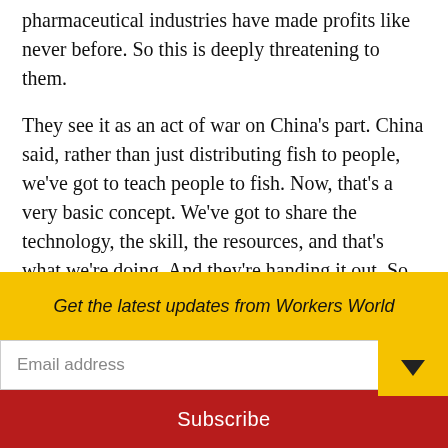pharmaceutical industries have made profits like never before. So this is deeply threatening to them.
They see it as an act of war on China's part. China said, rather than just distributing fish to people, we've got to teach people to fish. Now, that's a very basic concept. We've got to share the technology, the skill, the resources, and that's what we're doing. And they're handing it out. So to anyone who's into protecting patents, such as Bill Gates, Warren Buffett, Jeff Bezos and all of them a
Get the latest updates from Workers World
Email address
Subscribe